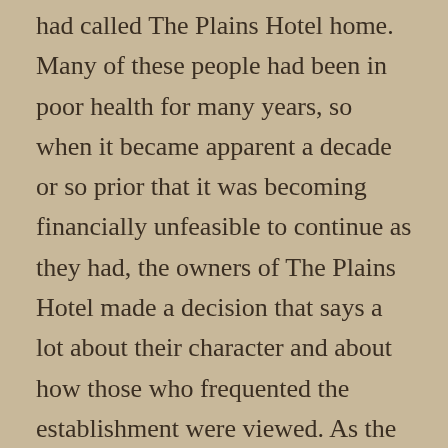had called The Plains Hotel home. Many of these people had been in poor health for many years, so when it became apparent a decade or so prior that it was becoming financially unfeasible to continue as they had, the owners of The Plains Hotel made a decision that says a lot about their character and about how those who frequented the establishment were viewed. As the regular tenants became unable to live on their own any longer and were moved by the province to long term care homes, their former rooms were closed down and not rented out any longer. If a regular tenant passed away and no family members were nearby, the folks at The Plains Hotel stepped in to ensure their friend was buried with dignity and respect. Eventually, the final regular tenant found a new place to live. The rooms at The Plains Hotel were now all empty. Meanwhile